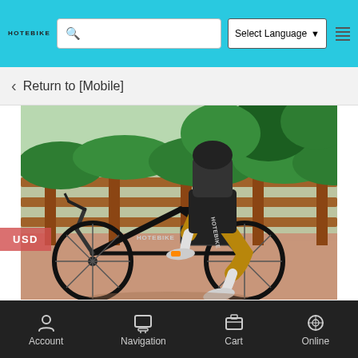HOTEBIKE | Select Language | Search
Return to [Mobile]
[Figure (photo): A person riding a black HOTEBIKE electric bicycle on a reddish path, with a wooden fence and green bushes in the background. The rider wears black cycling shorts branded HOTEBIKE and white sneakers.]
USD
Environmental protection and pollution issues. Friends who encounter traffic jams in the morning rush hour have the same feeling. They always have to watch other vehicles sitting in the
Account  Navigation  Cart  Online